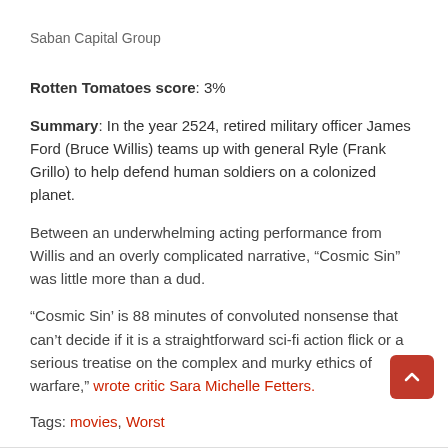Saban Capital Group
Rotten Tomatoes score: 3%
Summary: In the year 2524, retired military officer James Ford (Bruce Willis) teams up with general Ryle (Frank Grillo) to help defend human soldiers on a colonized planet.
Between an underwhelming acting performance from Willis and an overly complicated narrative, “Cosmic Sin” was little more than a dud.
“Cosmic Sin’ is 88 minutes of convoluted nonsense that can’t decide if it is a straightforward sci-fi action flick or a serious treatise on the complex and murky ethics of warfare,” wrote critic Sara Michelle Fetters.
Tags: movies, Worst